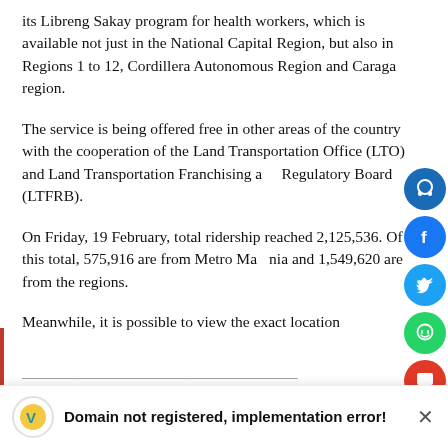its Libreng Sakay program for health workers, which is available not just in the National Capital Region, but also in Regions 1 to 12, Cordillera Autonomous Region and Caraga region.
The service is being offered free in other areas of the country with the cooperation of the Land Transportation Office (LTO) and Land Transportation Franchising and Regulatory Board (LTFRB).
On Friday, 19 February, total ridership reached 2,125,536. Of this total, 575,916 are from Metro Manila and 1,549,620 are from the regions.
Meanwhile, it is possible to view the exact location
will be available.
Domain not registered, implementation error!